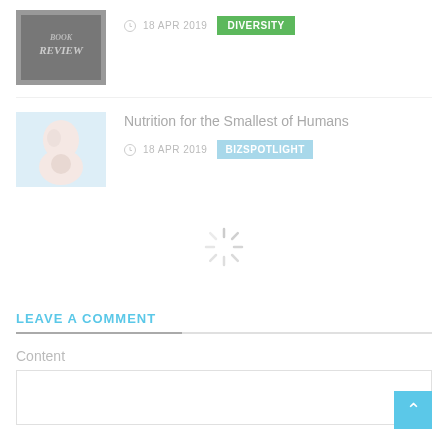[Figure (photo): Book Review thumbnail image - dark background with 'BOOK REVIEW' text]
18 APR 2019
DIVERSITY
Nutrition for the Smallest of Humans
[Figure (photo): Baby photo - infant on light blue background]
18 APR 2019
BIZSPOTLIGHT
[Figure (other): Loading spinner icon]
LEAVE A COMMENT
Content